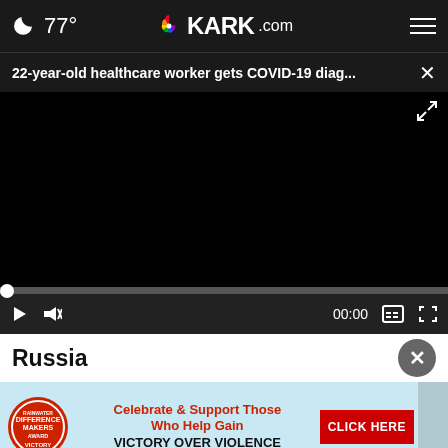🌙 77° KARK.com ≡
22-year-old healthcare worker gets COVID-19 diag... ×
[Figure (screenshot): Black video player area showing an embedded news video, currently paused/black screen with playback controls at the bottom (play button, mute icon, 00:00 timestamp, captions button, fullscreen button) and a progress bar with a white dot at the start.]
Russia
[Figure (infographic): Advertisement banner with light blue background. Left side shows a red circular logo with 'DIFFERENCE MAKERS AWARD VICTORY' text. Center text reads 'Celebrate & Support Those Who Help Gain VICTORY OVER VIOLENCE' in red and black. Right side shows a red button with 'CLICK HERE' in white text. A partial image of a person is visible on the far right.]